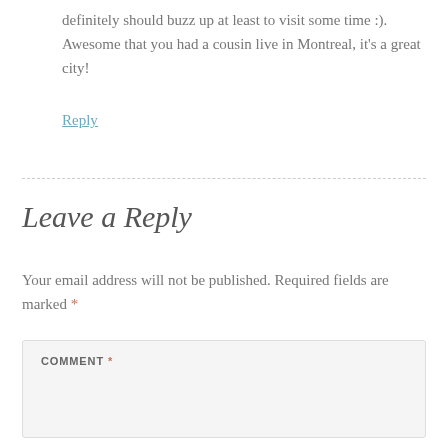definitely should buzz up at least to visit some time :). Awesome that you had a cousin live in Montreal, it's a great city!
Reply
Leave a Reply
Your email address will not be published. Required fields are marked *
COMMENT *